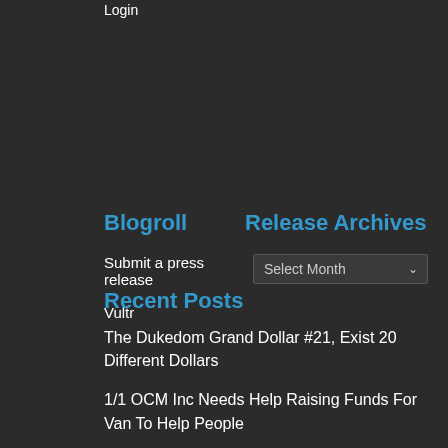Login
Blogroll
Release Archives
Submit a press release
Vultr
Recent Posts
The Dukedom Grand Dollar #21, Exist 20 Different Dollars
1/1 OCM Inc Needs Help Raising Funds For Van To Help People
InventHelp VIBE Exhibited at Licensing Expo